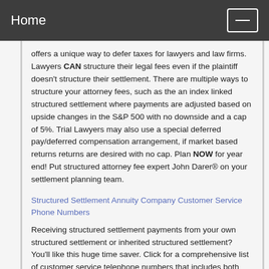Home
offers a unique way to defer taxes for lawyers and law firms. Lawyers CAN structure their legal fees even if the plaintiff doesn't structure their settlement. There are multiple ways to structure your attorney fees, such as the an index linked structured settlement where payments are adjusted based on upside changes in the S&P 500 with no downside and a cap of 5%. Trial Lawyers may also use a special deferred pay/deferred compensation arrangement, if market based returns returns are desired with no cap. Plan NOW for year end! Put structured attorney fee expert John Darer® on your settlement planning team.
Structured Settlement Annuity Company Customer Service Phone Numbers
Receiving structured settlement payments from your own structured settlement or inherited structured settlement? You'll like this huge time saver. Click for a comprehensive list of customer service telephone numbers that includes both current AND former